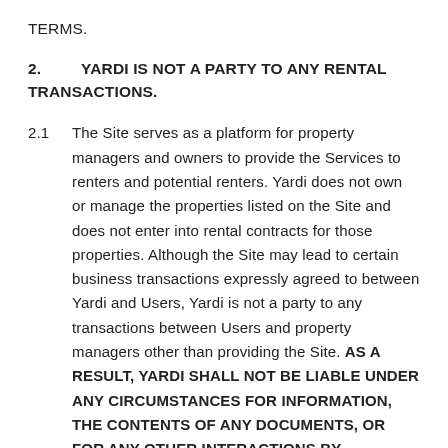TERMS.
2.        YARDI IS NOT A PARTY TO ANY RENTAL TRANSACTIONS.
2.1        The Site serves as a platform for property managers and owners to provide the Services to renters and potential renters. Yardi does not own or manage the properties listed on the Site and does not enter into rental contracts for those properties. Although the Site may lead to certain business transactions expressly agreed to between Yardi and Users, Yardi is not a party to any transactions between Users and property managers other than providing the Site. AS A RESULT, YARDI SHALL NOT BE LIABLE UNDER ANY CIRCUMSTANCES FOR INFORMATION, THE CONTENTS OF ANY DOCUMENTS, OR FOR ANY OTHER INTERACTIONS BY, BETWEEN OR AMONG USERS, PROPERTY MANAGERS